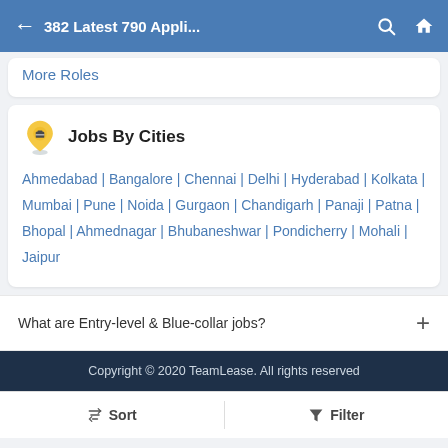382 Latest 790 Appli...
More Roles
Jobs By Cities
Ahmedabad | Bangalore | Chennai | Delhi | Hyderabad | Kolkata | Mumbai | Pune | Noida | Gurgaon | Chandigarh | Panaji | Patna | Bhopal | Ahmednagar | Bhubaneshwar | Pondicherry | Mohali | Jaipur
What are Entry-level & Blue-collar jobs?
Copyright © 2020 TeamLease. All rights reserved